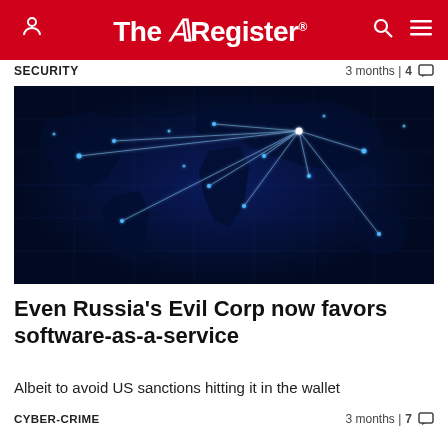The Register
SECURITY  3 months | 4
[Figure (illustration): World map with glowing blue network connection lines radiating from a central point over Russia/Europe to cities worldwide, on a dark blue grid background.]
Even Russia's Evil Corp now favors software-as-a-service
Albeit to avoid US sanctions hitting it in the wallet
CYBER-CRIME  3 months | 7